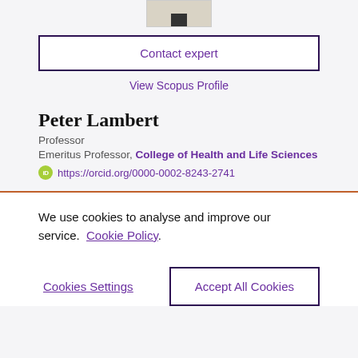[Figure (photo): Partial photo of a person showing only feet/lower legs]
Contact expert
View Scopus Profile
Peter Lambert
Professor
Emeritus Professor, College of Health and Life Sciences
https://orcid.org/0000-0002-8243-2741
We use cookies to analyse and improve our service. Cookie Policy
Cookies Settings
Accept All Cookies